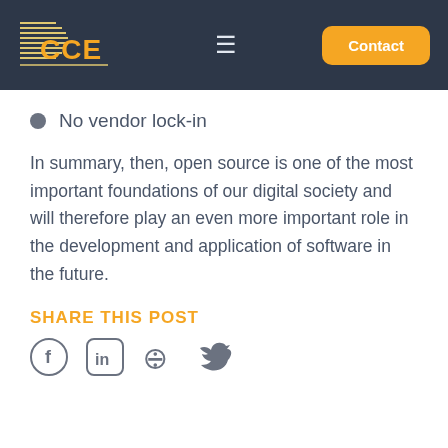CCE — Contact
No vendor lock-in
In summary, then, open source is one of the most important foundations of our digital society and will therefore play an even more important role in the development and application of software in the future.
SHARE THIS POST
[Figure (other): Social media share icons: Facebook, LinkedIn, Xing, Twitter]